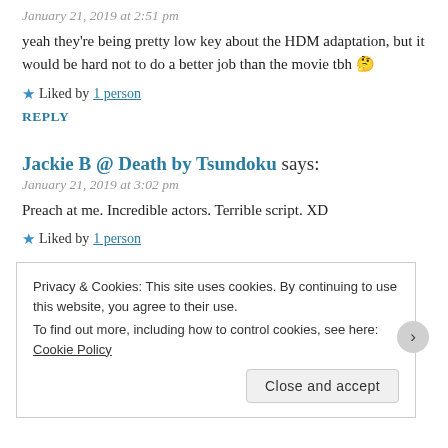January 21, 2019 at 2:51 pm
yeah they're being pretty low key about the HDM adaptation, but it would be hard not to do a better job than the movie tbh 🤔
★ Liked by 1 person
REPLY
Jackie B @ Death by Tsundoku says:
January 21, 2019 at 3:02 pm
Preach at me. Incredible actors. Terrible script. XD
★ Liked by 1 person
Privacy & Cookies: This site uses cookies. By continuing to use this website, you agree to their use.
To find out more, including how to control cookies, see here: Cookie Policy
Close and accept